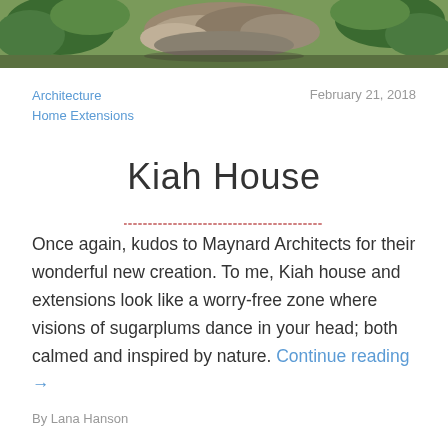[Figure (photo): Hero image of rocks and green foliage/garden at the top of the page]
Architecture
Home Extensions
February 21, 2018
Kiah House
Once again, kudos to Maynard Architects for their wonderful new creation. To me, Kiah house and extensions look like a worry-free zone where visions of sugarplums dance in your head; both calmed and inspired by nature. Continue reading →
By Lana Hanson